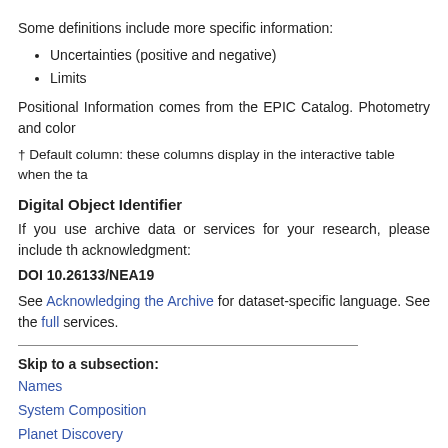Some definitions include more specific information:
Uncertainties (positive and negative)
Limits
Positional Information comes from the EPIC Catalog. Photometry and color
† Default column: these columns display in the interactive table when the ta
Digital Object Identifier
If you use archive data or services for your research, please include the acknowledgment:
DOI 10.26133/NEA19
See Acknowledging the Archive for dataset-specific language. See the full services.
Skip to a subsection:
Names
System Composition
Planet Discovery
Detections